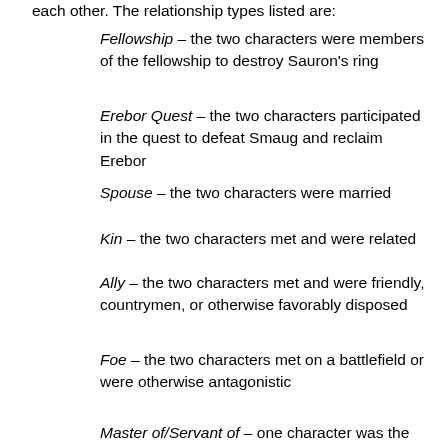each other. The relationship types listed are:
Fellowship – the two characters were members of the fellowship to destroy Sauron's ring
Erebor Quest – the two characters participated in the quest to defeat Smaug and reclaim Erebor
Spouse – the two characters were married
Kin – the two characters met and were related
Ally – the two characters met and were friendly, countrymen, or otherwise favorably disposed
Foe – the two characters met on a battlefield or were otherwise antagonistic
Master of/Servant of – one character was the servant of the other